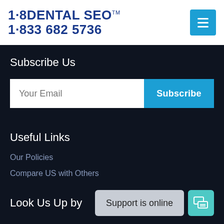[Figure (logo): 1·8DENTAL SEO logo with trademark symbol and phone number 1·833 682 5736 in bold dark blue, plus a blue hamburger menu button on the right]
Subscribe Us
[Figure (other): Email subscription input field with 'Your Email' placeholder and a blue 'Subscribe' button]
Useful Links
Our Policies
Compare US with Others
Look Us Up by
[Figure (other): Support is online button (gray) and teal chat icon button]